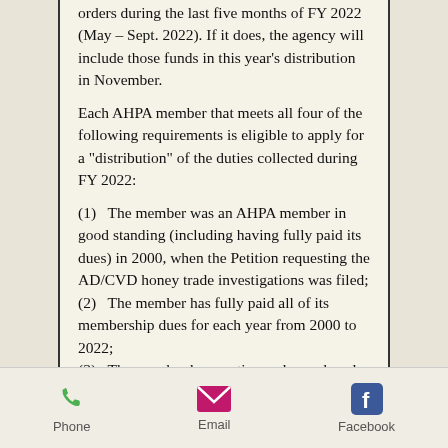orders during the last five months of FY 2022 (May – Sept. 2022). If it does, the agency will include those funds in this year's distribution in November.
Each AHPA member that meets all four of the following requirements is eligible to apply for a "distribution" of the duties collected during FY 2022:
(1)   The member was an AHPA member in good standing (including having fully paid its dues) in 2000, when the Petition requesting the AD/CVD honey trade investigations was filed;
(2)   The member has fully paid all of its membership dues for each year from 2000 to 2022;
(3)   The member has continuously produced and sold raw honey from 2000 to 20221; and
Phone   Email   Facebook